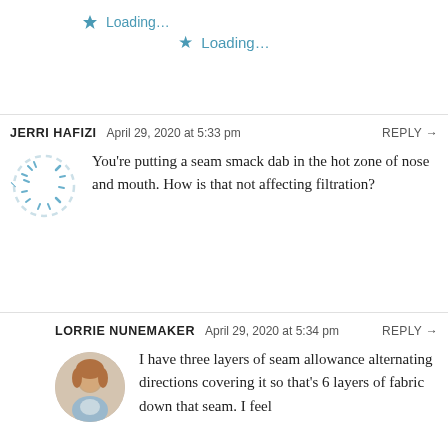Loading...
JERRI HAFIZI   April 29, 2020 at 5:33 pm   REPLY →
You’re putting a seam smack dab in the hot zone of nose and mouth. How is that not affecting filtration?
Loading...
LORRIE NUNEMAKER   April 29, 2020 at 5:34 pm   REPLY →
I have three layers of seam allowance alternating directions covering it so that’s 6 layers of fabric down that seam. I feel